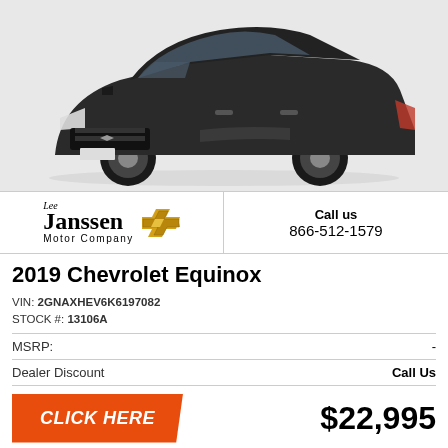[Figure (photo): Dark gray/black 2019 Chevrolet Equinox SUV on white background, front three-quarter view]
[Figure (logo): Lee Janssen Motor Company logo with Chevrolet bowtie gold emblem]
Call us
866-512-1579
2019 Chevrolet Equinox
VIN: 2GNAXHEV6K6197082
STOCK #: 13106A
|  |  |
| --- | --- |
| MSRP: | - |
| Dealer Discount | Call Us |
CLICK HERE
$22,995